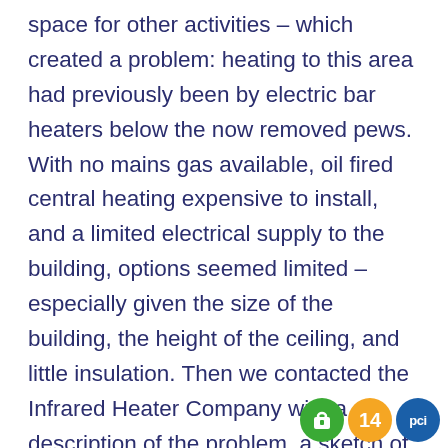space for other activities – which created a problem: heating to this area had previously been by electric bar heaters below the now removed pews. With no mains gas available, oil fired central heating expensive to install, and a limited electrical supply to the building, options seemed limited – especially given the size of the building, the height of the ceiling, and little insulation. Then we contacted the Infrared Heater Company with a description of the problem, a sketch of the building, and a plea for help. The response was